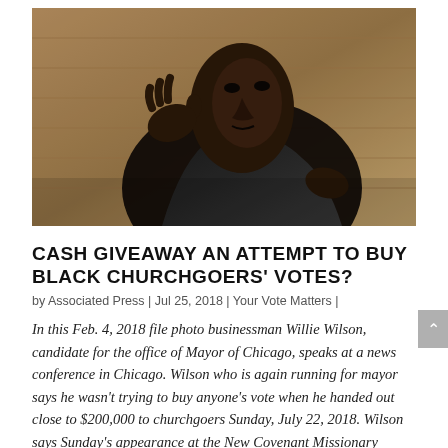[Figure (photo): A Black man in a suit with a patterned tie gestures with his hands while speaking at a news conference. The photo is taken at an upward angle against a blurred background.]
CASH GIVEAWAY AN ATTEMPT TO BUY BLACK CHURCHGOERS' VOTES?
by Associated Press | Jul 25, 2018 | Your Vote Matters |
In this Feb. 4, 2018 file photo businessman Willie Wilson, candidate for the office of Mayor of Chicago, speaks at a news conference in Chicago. Wilson who is again running for mayor says he wasn't trying to buy anyone's vote when he handed out close to $200,000 to churchgoers Sunday, July 22, 2018. Wilson says Sunday's appearance at the New Covenant Missionary